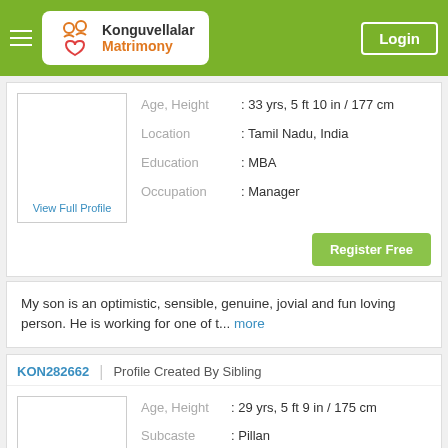Konguvellalar Matrimony | Login
Age, Height : 33 yrs, 5 ft 10 in / 177 cm
Location : Tamil Nadu, India
Education : MBA
Occupation : Manager
View Full Profile
Register Free
My son is an optimistic, sensible, genuine, jovial and fun loving person. He is working for one of t... more
KON282662 | Profile Created By Sibling
Age, Height : 29 yrs, 5 ft 9 in / 175 cm
Subcaste : Pillan
Location : Tamil Nadu, India
Education : MBA
View Full Profile